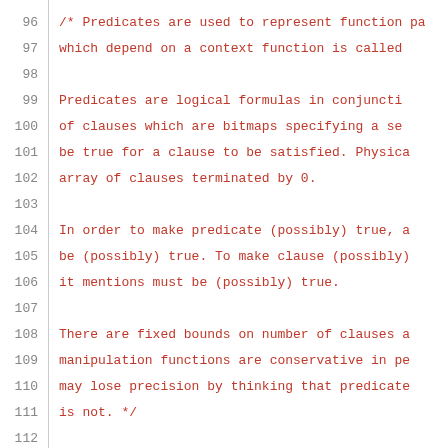Source code listing, lines 96-116, showing C++ predicate class documentation and typedef
96: /* Predicates are used to represent function pa
97:    which depend on a context function is called
98: (blank)
99:    Predicates are logical formulas in conjuncti
100:   of clauses which are bitmaps specifying a se
101:   be true for a clause to be satisfied. Physica
102:   array of clauses terminated by 0.
103: (blank)
104:   In order to make predicate (possibly) true, a
105:   be (possibly) true. To make clause (possibly)
106:   it mentions must be (possibly) true.
107: (blank)
108:   There are fixed bounds on number of clauses a
109:   manipulation functions are conservative in pe
110:   may lose precision by thinking that predicate
111:   is not.  */
112: (blank)
113: typedef uint32_t clause_t;
114: class predicate
115: {
116: public: